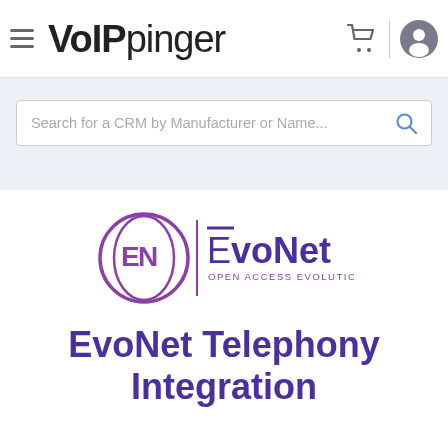VoIPinger
Search for a CRM by Manufacturer or Name...
[Figure (logo): EvoNet logo with circular EN monogram and text 'EvoNet OPEN ACCESS EVOLUTION']
EvoNet Telephony Integration